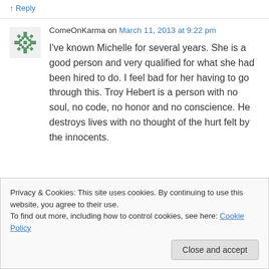↑ Reply
ComeOnKarma on March 11, 2013 at 9:22 pm
I've known Michelle for several years. She is a good person and very qualified for what she had been hired to do. I feel bad for her having to go through this. Troy Hebert is a person with no soul, no code, no honor and no conscience. He destroys lives with no thought of the hurt felt by the innocents.
Privacy & Cookies: This site uses cookies. By continuing to use this website, you agree to their use.
To find out more, including how to control cookies, see here: Cookie Policy
Close and accept